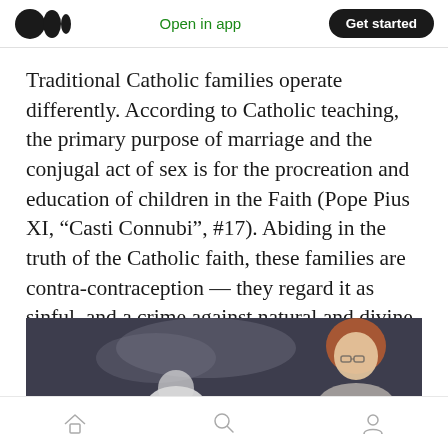Open in app  Get started
Traditional Catholic families operate differently. According to Catholic teaching, the primary purpose of marriage and the conjugal act of sex is for the procreation and education of children in the Faith (Pope Pius XI, “Casti Connubi”, #17). Abiding in the truth of the Catholic faith, these families are contra-contraception — they regard it as sinful, and a crime against natural and divine law.
[Figure (photo): A dark background photo showing a person with red hair wearing glasses on the right side, and a partial white figure on the left.]
Home  Search  Profile